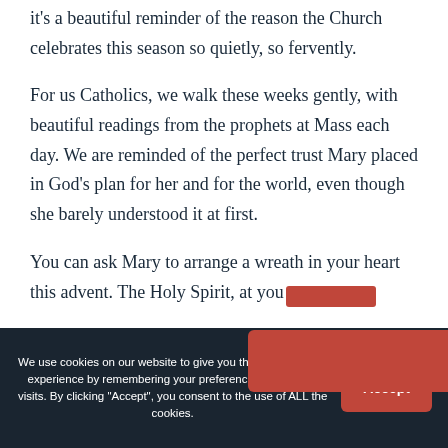it's a beautiful reminder of the reason the Church celebrates this season so quietly, so fervently.
For us Catholics, we walk these weeks gently, with beautiful readings from the prophets at Mass each day. We are reminded of the perfect trust Mary placed in God's plan for her and for the world, even though she barely understood it at first.
You can ask Mary to arrange a wreath in your heart this advent. The Holy Spirit, at you[r invitation, will]
We use cookies on our website to give you the most relevant experience by remembering your preferences and repeat visits. By clicking "Accept", you consent to the use of ALL the cookies.